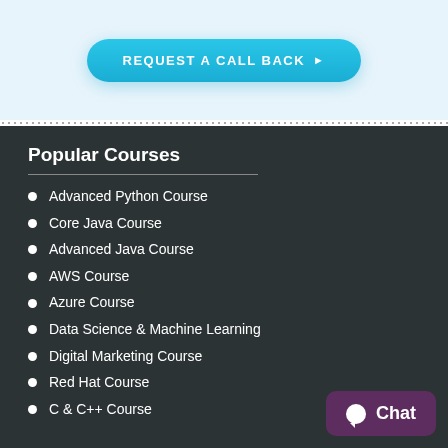[Figure (other): Cyan rounded button labeled 'REQUEST A CALL BACK' with right-pointing arrow, on light blue background]
Popular Courses
Advanced Python Course
Core Java Course
Advanced Java Course
AWS Course
Azure Course
Data Science & Machine Learning
Digital Marketing Course
Red Hat Course
C & C++ Course
[Figure (other): Chat widget button with purple background showing a chat bubble icon and the word 'Chat']